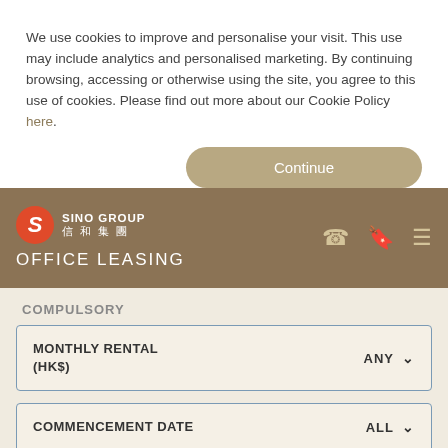We use cookies to improve and personalise your visit. This use may include analytics and personalised marketing. By continuing browsing, accessing or otherwise using the site, you agree to this use of cookies. Please find out more about our Cookie Policy here.
Continue
SINO GROUP 信和集團 OFFICE LEASING
COMPULSORY
MONTHLY RENTAL (HK$)  ANY
COMMENCEMENT DATE  ALL
Advanced^
Message Us!